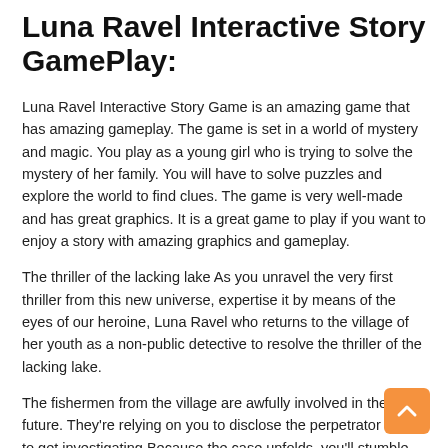Luna Ravel Interactive Story GamePlay:
Luna Ravel Interactive Story Game is an amazing game that has amazing gameplay. The game is set in a world of mystery and magic. You play as a young girl who is trying to solve the mystery of her family. You will have to solve puzzles and explore the world to find clues. The game is very well-made and has great graphics. It is a great game to play if you want to enjoy a story with amazing graphics and gameplay.
The thriller of the lacking lake As you unravel the very first thriller from this new universe, expertise it by means of the eyes of our heroine, Luna Ravel who returns to the village of her youth as a non-public detective to resolve the thriller of the lacking lake.
The fishermen from the village are awfully involved in their future. They're relying on you to disclose the perpetrator Time to get investigating Because the case unfolds, you'll stumble upon ex-lovers, and be pressured to confront previous demons.